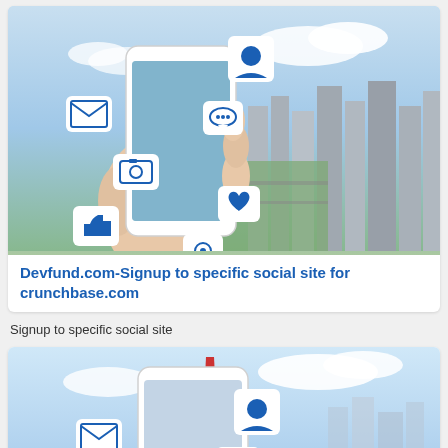[Figure (illustration): Hand holding a smartphone with social media icons floating above it (email, profile, chat, camera, like, heart, location pin), with a city skyline aerial view in the background (Tokyo Tower visible)]
Devfund.com-Signup to specific social site for crunchbase.com
Signup to specific social site
[Figure (illustration): Smartphone with social media icons (email, profile, chat) floating above it, with a blue sky and cityscape in the background — partial view cropped at bottom of page]